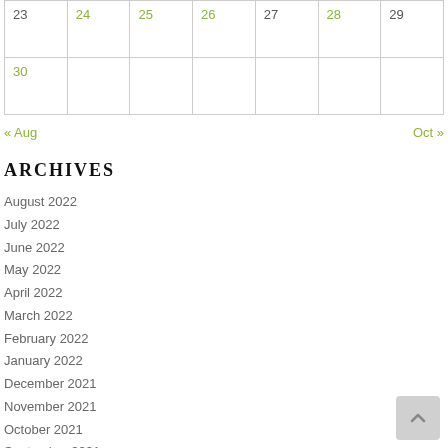| 23 | 24 | 25 | 26 | 27 | 28 | 29 |
| 30 |  |  |  |  |  |  |
« Aug    Oct »
ARCHIVES
August 2022
July 2022
June 2022
May 2022
April 2022
March 2022
February 2022
January 2022
December 2021
November 2021
October 2021
September 2021